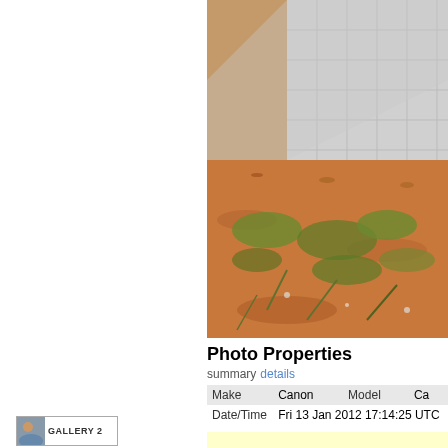[Figure (photo): Outdoor photograph showing red/orange soil ground with sparse green weeds and grass, a concrete block or step structure in the middle-right area, and what appears to be white/grey tiled surface in the upper right. The scene suggests a construction or outdoor area.]
Photo Properties
summary details
| Make |  | Model | Ca... |
| --- | --- | --- | --- |
| Make | Canon | Model | Ca... |
| Date/Time | Fri 13 Jan 2012 17:14:25 UTC |  |  |
[Figure (logo): Gallery 2 logo — small thumbnail image with face and 'GALLERY 2' text]